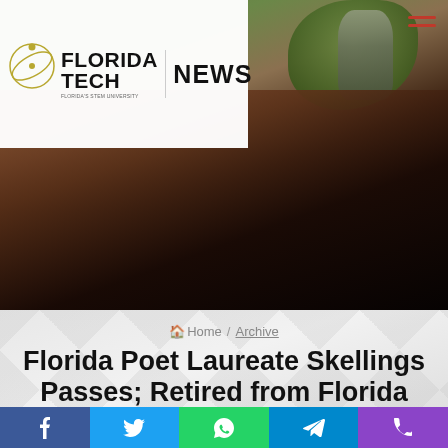Florida Tech NEWS
[Figure (photo): Hero photo showing a close-up of a dark furry animal or costume with a bronze statue and greenery visible in the background, with Florida Tech News logo overlay]
Home / Archive
Florida Poet Laureate Skellings Passes; Retired from Florida Tech Last April
admin · August 20, 2012
MELBOURNE, FLA. — Florida's Poet Laureate Edmund